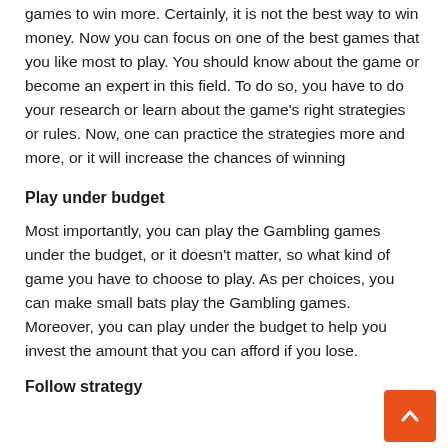games to win more. Certainly, it is not the best way to win money. Now you can focus on one of the best games that you like most to play. You should know about the game or become an expert in this field. To do so, you have to do your research or learn about the game's right strategies or rules. Now, one can practice the strategies more and more, or it will increase the chances of winning
Play under budget
Most importantly, you can play the Gambling games under the budget, or it doesn't matter, so what kind of game you have to choose to play. As per choices, you can make small bats play the Gambling games. Moreover, you can play under the budget to help you invest the amount that you can afford if you lose.
Follow strategy